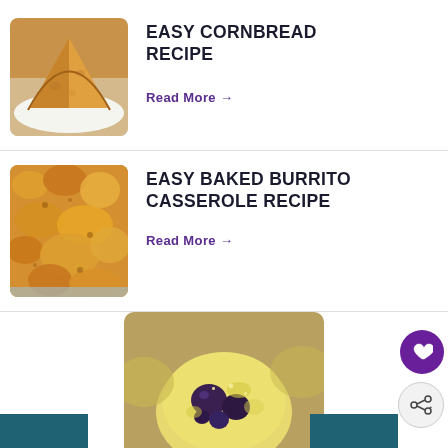[Figure (photo): Sliced golden cornbread on a white plate]
EASY CORNBREAD RECIPE
Read More →
[Figure (photo): Baked burrito casserole with melted cheddar cheese on top]
EASY BAKED BURRITO CASSEROLE RECIPE
Read More →
[Figure (photo): Close-up of a blueberry muffin in a paper liner]
[Figure (illustration): Teal decorative blocks at bottom corners and share/heart floating action buttons]